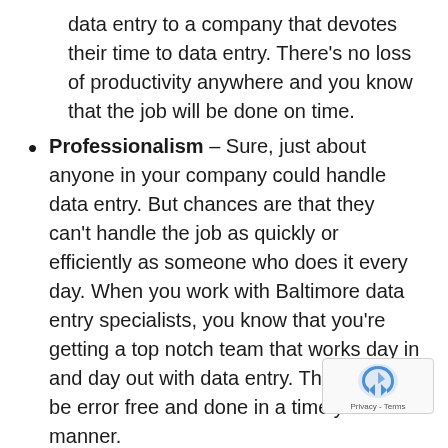data entry to a company that devotes their time to data entry. There's no loss of productivity anywhere and you know that the job will be done on time.
Professionalism – Sure, just about anyone in your company could handle data entry. But chances are that they can't handle the job as quickly or efficiently as someone who does it every day. When you work with Baltimore data entry specialists, you know that you're getting a top notch team that works day in and day out with data entry. The work will be error free and done in a timely manner.
Cost Effective – Even if you're not sliding off the work to another employee and you're choosing to hire someone in house to do data entry, you're wasting money. That person will be on staff for data entry, but what happens when there's nothing for them to do one day? You'll find